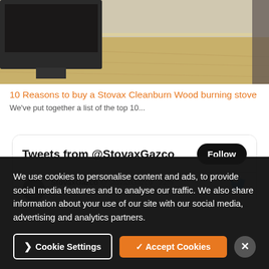[Figure (photo): Photo of a wood burning stove or fireplace setup in a room with a wooden floor, TV visible, interior home setting]
10 Reasons to buy a Stovax Cleanburn Wood burning stove
We've put together a list of the top 10...
[Figure (screenshot): Twitter widget showing 'Tweets from @StovaxGazco' with a Follow button and a tweet row showing StovaxGazco @StovaxGazco with Twitter bird icon]
We use cookies to personalise content and ads, to provide social media features and to analyse our traffic. We also share information about your use of our site with our social media, advertising and analytics partners.